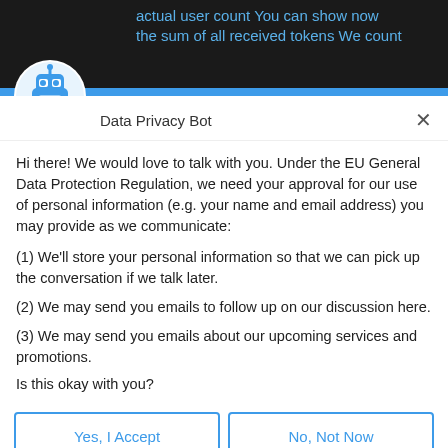actual user count You can show now the sum of all received tokens We count
[Figure (illustration): Blue robot/bot icon in a circle on dark background]
Data Privacy Bot
Hi there! We would love to talk with you. Under the EU General Data Protection Regulation, we need your approval for our use of personal information (e.g. your name and email address) you may provide as we communicate:
(1) We'll store your personal information so that we can pick up the conversation if we talk later.
(2) We may send you emails to follow up on our discussion here.
(3) We may send you emails about our upcoming services and promotions.
Is this okay with you?
Yes, I Accept
No, Not Now
Chat ⚡ by Drift